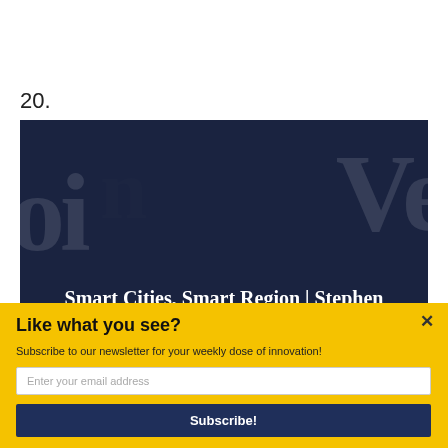20.
[Figure (screenshot): Video thumbnail with dark navy background showing a person speaking. White text overlay reads 'Smart Cities, Smart Region | Stephen Goldsmith'. A 'Powered by SUMO' badge is shown at the bottom center.]
Like what you see?
Subscribe to our newsletter for your weekly dose of innovation!
Enter your email address
Subscribe!